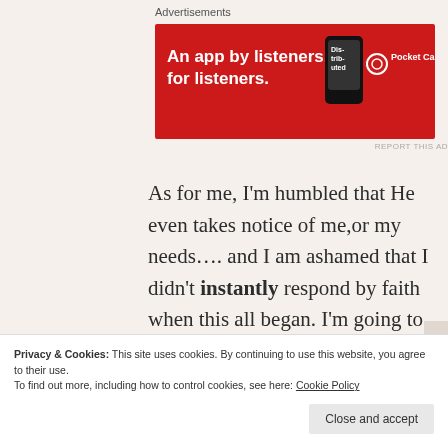Advertisements
[Figure (illustration): Pocket Casts advertisement banner with red background, text 'An app by listeners, for listeners.' with a phone showing app and Pocket Casts logo]
REPORT THIS AD
As for me, I’m humbled that He even takes notice of me,or my needs…. and I am ashamed that I didn’t instantly respond by faith when this all began. I’m going to keep working on that as it will spare me a lot of grief in the long run and avoid any agonizing about any situation.  We are told not to worry about anything. After all, worry is a sin, and God can’t respond to worry because it’s Faith that moves the hand of God. The Lord will honor
Privacy & Cookies: This site uses cookies. By continuing to use this website, you agree to their use.
To find out more, including how to control cookies, see here: Cookie Policy
Close and accept